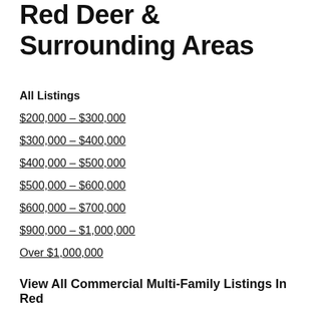Red Deer & Surrounding Areas
All Listings
$200,000 - $300,000
$300,000 - $400,000
$400,000 - $500,000
$500,000 - $600,000
$600,000 - $700,000
$900,000 - $1,000,000
Over $1,000,000
View All Commercial Multi-Family Listings In Red